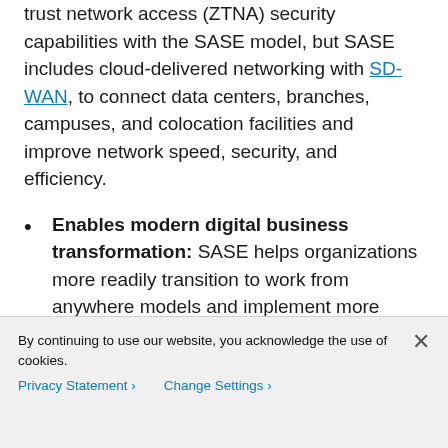trust network access (ZTNA) security capabilities with the SASE model, but SASE includes cloud-delivered networking with SD-WAN, to connect data centers, branches, campuses, and colocation facilities and improve network speed, security, and efficiency.
Enables modern digital business transformation: SASE helps organizations more readily transition to work from anywhere models and implement more consistent security
By continuing to use our website, you acknowledge the use of cookies.
Privacy Statement > Change Settings >